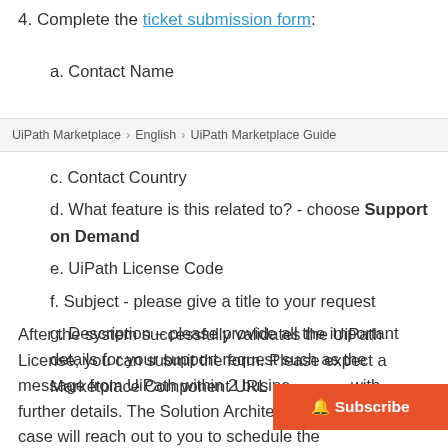4. Complete the ticket submission form:
UiPath Marketplace > English > UiPath Marketplace Guide
a. Contact Name
c. Contact Country
d. What feature is this related to? - choose Support on Demand
e. UiPath License Code
f. Subject - please give a title to your request
g. Description – please provide all the important details for your support request such as the Marketplace Component URL
After the system successfully validates the UiPath License, you can submit the form. Please expect a message from UiPath within 2 business days with further details. The Solution Architect assigned to your case will reach out to you to schedule the